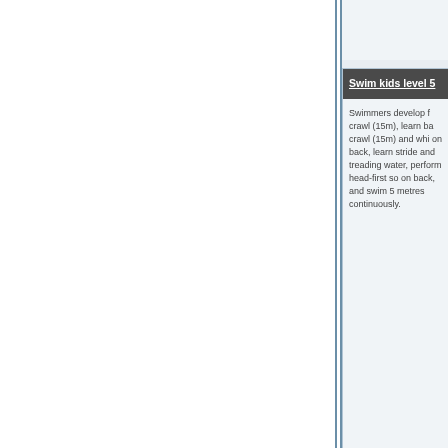Swim kids level 5
Swimmers develop f... crawl (15m), learn ba... crawl (15m) and whi... on back, learn stride... and treading water, perform head-first so... on back, and swim 5... metres continuously.
Swim kids level 6
Swimmers increase...